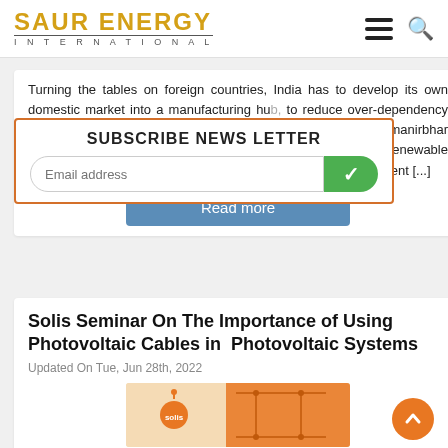SAUR ENERGY INTERNATIONAL
Turning the tables on foreign countries, India has to develop its own domestic market into a manufacturing hub, to reduce over-dependency on other countries trading in solar components under Aatmanirbhar initiative, Bhagwanth Khuba, Minister of State for New and Renewable Energy, said in New Delhi on July 28. “So far India was dependent [...]
SUBSCRIBE NEWS LETTER
Email address
Read more
Solis Seminar On The Importance of Using Photovoltaic Cables in Photovoltaic Systems
Updated On Tue, Jun 28th, 2022
[Figure (photo): Solis seminar promotional image with orange logo and circuit board background]